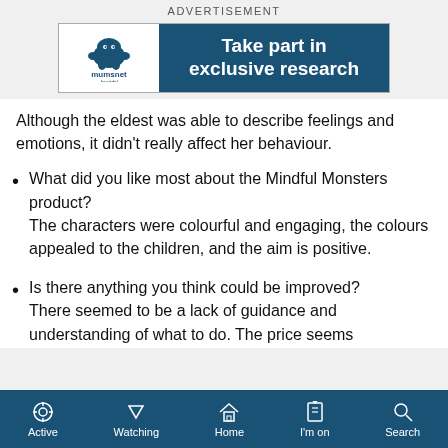ADVERTISEMENT
[Figure (other): Mumsnet Insight advertisement banner: logo on left with text 'Take part in exclusive research' on blue background]
Although the eldest was able to describe feelings and emotions, it didn't really affect her behaviour.
What did you like most about the Mindful Monsters product?
The characters were colourful and engaging, the colours appealed to the children, and the aim is positive.
Is there anything you think could be improved?
There seemed to be a lack of guidance and understanding of what to do. The price seems
Active  Watching  Home  I'm on  Search